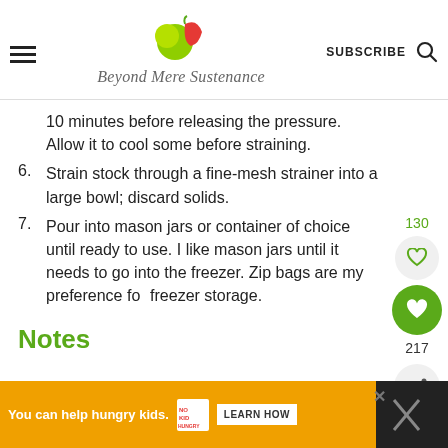Beyond Mere Sustenance — SUBSCRIBE
10 minutes before releasing the pressure. Allow it to cool some before straining.
6. Strain stock through a fine-mesh strainer into a large bowl; discard solids.
7. Pour into mason jars or container of choice until ready to use. I like mason jars until it needs to go into the freezer. Zip bags are my preference for freezer storage.
Notes
[Figure (infographic): Ad banner: orange background, text 'You can help hungry kids.' with No Kid Hungry logo and LEARN HOW button]